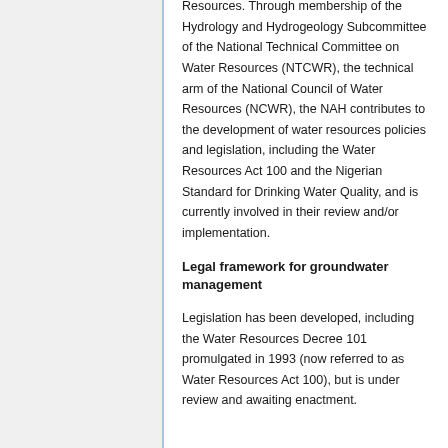Resources. Through membership of the Hydrology and Hydrogeology Subcommittee of the National Technical Committee on Water Resources (NTCWR), the technical arm of the National Council of Water Resources (NCWR), the NAH contributes to the development of water resources policies and legislation, including the Water Resources Act 100 and the Nigerian Standard for Drinking Water Quality, and is currently involved in their review and/or implementation.
Legal framework for groundwater management
Legislation has been developed, including the Water Resources Decree 101 promulgated in 1993 (now referred to as Water Resources Act 100), but is under review and awaiting enactment.